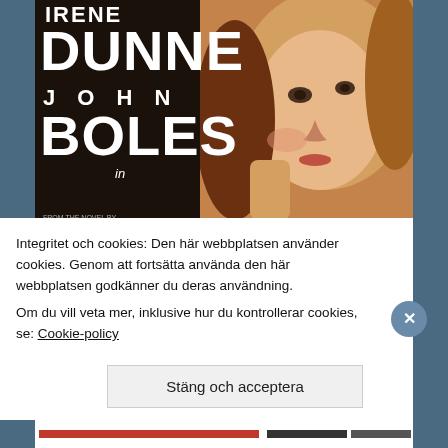[Figure (illustration): Movie poster for 'The Age of Innocence' featuring Irene Dunne and John Boles. The poster shows a painted illustration of a woman with light hair looking at the viewer, with large white text 'DUNNE' and 'JOHN BOLES' on the left, and large yellow text 'THE AGE OF INNOCENCE' in the center-right. Small text credits include Lionel Atwill at the bottom.]
Integritet och cookies: Den här webbplatsen använder cookies. Genom att fortsätta använda den här webbplatsen godkänner du deras användning.
Om du vill veta mer, inklusive hur du kontrollerar cookies, se: Cookie-policy
Stäng och acceptera